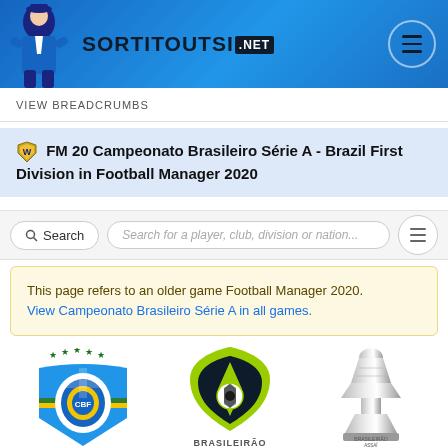SORTITOUTSI.NET
VIEW BREADCRUMBS
FM 20 Campeonato Brasileiro Série A - Brazil First Division in Football Manager 2020
Search for a player, club, division or nation...
This page refers to an older game Football Manager 2020. View Campeonato Brasileiro Série A in all games.
[Figure (illustration): Three images: CBF Brazil football federation shield, Brasileirao league badge (yellow-green), and Brasileirao Assai trophy]
BRASILEIRÃO